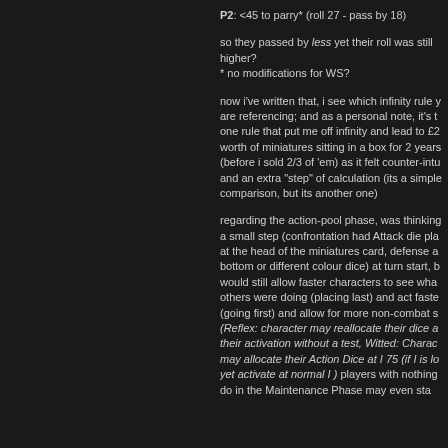P2: <45 to parry* (roll 27 - pass by 18)
so they passed by less yet their roll was still higher?
* no modifications for WS?
now i've written that, i see which infinity rule you are referencing; and as a personal note, it's the one rule that put me off infinity and lead to £2 worth of miniatures sitting in a box for 2 years (before i sold 2/3 of 'em) as it felt counter-intuitive and an extra "step" of calculation (its a simple comparison, but its another one)
regarding the action-pool phase, was thinking a small step (confrontation had Attack die placed at the head of the miniatures card, defense at bottom or different colour dice) at turn start, but would still allow faster characters to see what others were doing (placing last) and act faster (going first) and allow for more non-combat s (Reflex: character may reallocate their dice after their activation without a test, Witted: Character may allocate their Action Dice at I 75 (if I is lo yet activate at normal I ) players with nothing do in the Maintenance Phase may even sta